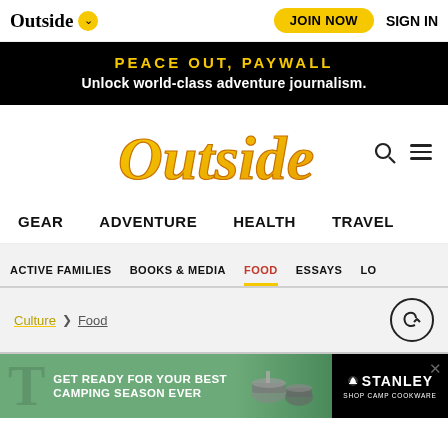Outside | JOIN NOW | SIGN IN
PEACE OUT, PAYWALL
Unlock world-class adventure journalism.
[Figure (logo): Outside magazine logo in gold/orange script lettering with search and hamburger menu icons]
GEAR   ADVENTURE   HEALTH   TRAVEL
ACTIVE FAMILIES   BOOKS & MEDIA   FOOD   ESSAYS   LO...
Culture > Food
[Figure (infographic): Share/reply button icon (circle with arrow)]
[Figure (infographic): Stanley cookware advertisement banner: GET READY FOR YOUR BEST CAMPING SEASON EVER - SHOP CAMP COOKWARE]